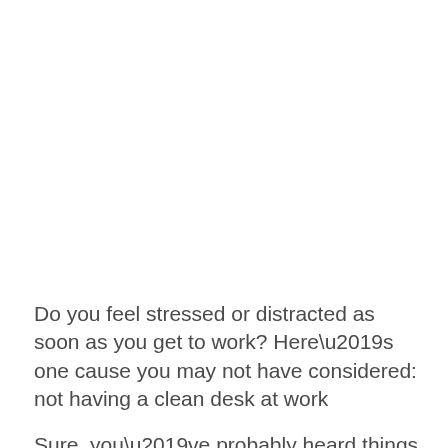Do you feel stressed or distracted as soon as you get to work? Here’s one cause you may not have considered: not having a clean desk at work
Sure, you’ve probably heard things like “yeah, my